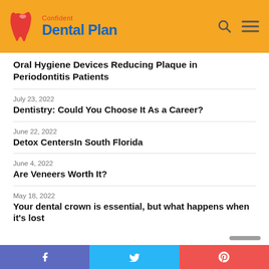Confident Dental Plan
Oral Hygiene Devices Reducing Plaque in Periodontitis Patients
July 23, 2022
Dentistry: Could You Choose It As a Career?
June 22, 2022
Detox CentersIn South Florida
June 4, 2022
Are Veneers Worth It?
May 18, 2022
Your dental crown is essential, but what happens when it's lost
Facebook Twitter Pinterest